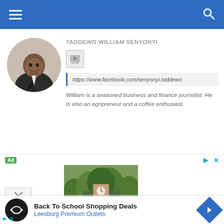Navigation bar with hamburger menu and search icon
[Figure (photo): Circular profile photo of a smiling man in a suit]
TADDEWO WILLIAM SENYONYI
[Figure (logo): YouTube icon in a grey square box]
https://www.facebook.com/senyonyi.taddewo
William is a seasoned business and finance journalist. He is also an agripreneur and a coffee enthusiast.
[Figure (photo): Aerial photo of a building with a clock tower surrounded by trees — advertisement image]
Ad
Back To School Shopping Deals
Leesburg Premium Outlets